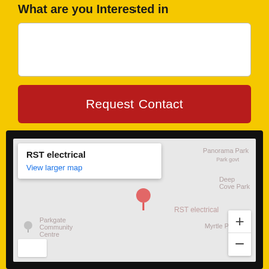What are you Interested in
[Figure (screenshot): Text area input field with white background and rounded corners on yellow background]
[Figure (screenshot): Red button labeled 'Request Contact' on yellow background]
[Figure (map): Google Maps embed showing RST electrical location with popup label and map pin, surrounded by black border. Shows Panorama Park, Deep Cove Park, Myrtle Park, and Parkgate Community Centre labels on a grey map. Zoom controls visible bottom right.]